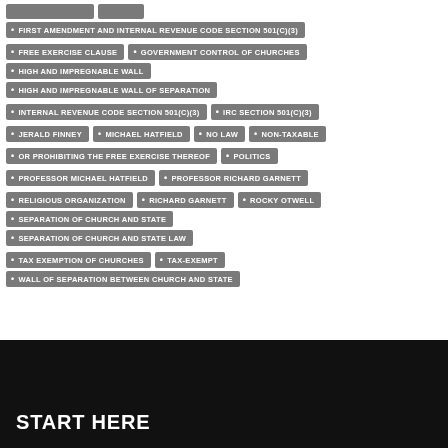FIRST AMENDMENT AND INTERNAL REVENUE CODE SECTION 501(C)(3)
FREE EXERCISE CLAUSE
GOVERNMENT CONTROL OF CHURCHES
HIGH AND IMPREGNABLE WALL
HIGH AND IMPREGNABLE WALL OF SEPARATION
INTERNAL REVENUE CODE SECTION 501(C)(3)
IRC SECTION 501(C)(3)
JERALD FINNEY
MICHAEL HATFIELD
NO LAW
NON-TAXABLE
OR PROHIBITING THE FREE EXERCISE THEREOF
POLITICS
PROFESSOR MICHAEL HATFIELD
PROFESSOR RICHARD GARNETT
RELIGIOUS ORGANIZATION
RICHARD GARNETT
ROCKY OTWELL
SEPARATION OF CHURCH AND STATE
SEPARATION OF CHURCH AND STATE LAW
TAX EXEMPTION OF CHURCHES
TAX-EXEMPT
WALL OF SEPARATION BETWEEN CHURCH AND STATE
START HERE